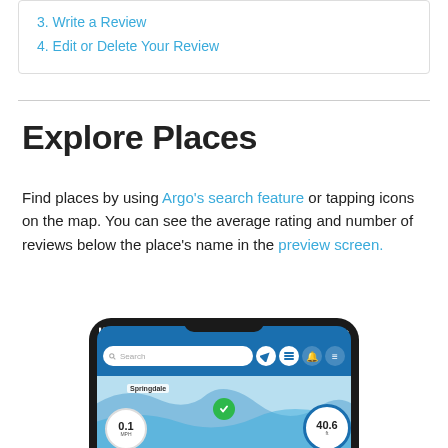3. Write a Review
4. Edit or Delete Your Review
Explore Places
Find places by using Argo's search feature or tapping icons on the map. You can see the average rating and number of reviews below the place's name in the preview screen.
[Figure (screenshot): Screenshot of a smartphone showing the Argo navigation app with a map displaying Springdale area, a search bar, speed indicator showing 0.1 MPH, and depth indicator showing 40.6 ft.]